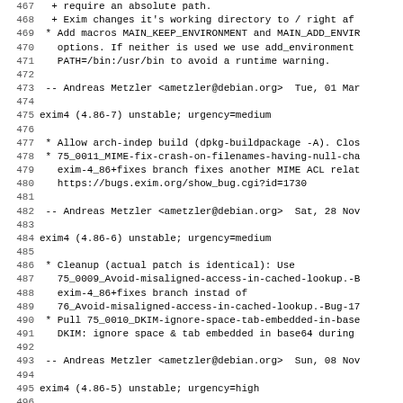467-499: Debian changelog entries for exim4 packages (4.86-5 through 4.86-7), listing bug fixes and maintainer signatures by Andreas Metzler.